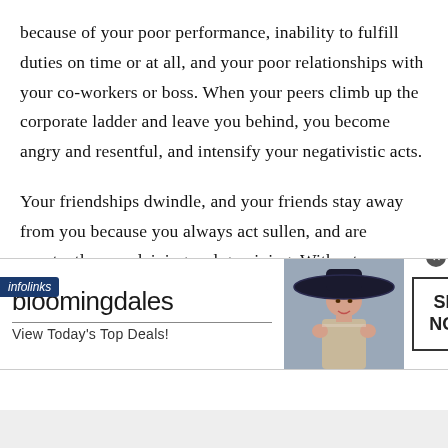because of your poor performance, inability to fulfill duties on time or at all, and your poor relationships with your co-workers or boss. When your peers climb up the corporate ladder and leave you behind, you become angry and resentful, and intensify your negativistic acts.
Your friendships dwindle, and your friends stay away from you because you always act sullen, and are constantly complaining and gossiping. Without your friends, you feel isolated and
wanted. Self-pity, depression and anger sets in
[Figure (other): Bloomingdale's advertisement banner with logo, 'View Today's Top Deals!' tagline, woman in wide-brim hat photo, and 'SHOP NOW >' button]